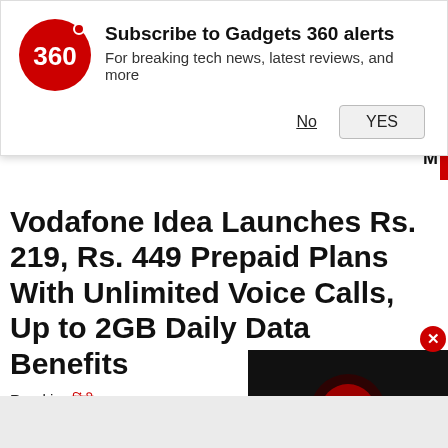[Figure (screenshot): Gadgets 360 push notification banner with logo, title 'Subscribe to Gadgets 360 alerts', subtitle 'For breaking tech news, latest reviews, and more', and No/YES buttons]
Vodafone Idea Launches Rs. 219, Rs. 449 Prepaid Plans With Unlimited Voice Calls, Up to 2GB Daily Data Benefits
Read in: हिंदी
Rs. 219 Vodafone prepaid recharge plan comes with a validity of 28 days, while Rs. 449 plan
Advertisement
[Figure (screenshot): Embedded video player thumbnail showing a red play button on dark background]